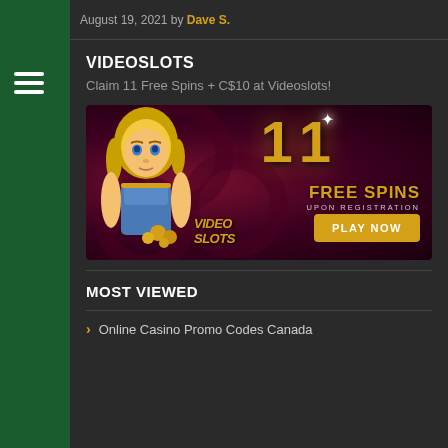August 19, 2021 by Dave S.
VIDEOSLOTS
Claim 11 Free Spins + C$10 at Videoslots!
[Figure (illustration): Videoslots casino advertisement banner featuring an animated blonde female character holding coins, with '11 FREE SPINS UPON REGISTRATION' text in gold and a 'PLAY NOW' yellow button on a dark red/purple background. VideoSlots logo at bottom left.]
MOST VIEWED
Online Casino Promo Codes Canada